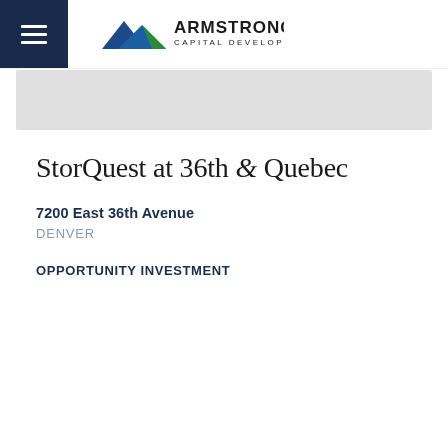Armstrong Capital Development
[Figure (photo): Gray banner/image area below header]
StorQuest at 36th & Quebec
7200 East 36th Avenue
DENVER
OPPORTUNITY INVESTMENT